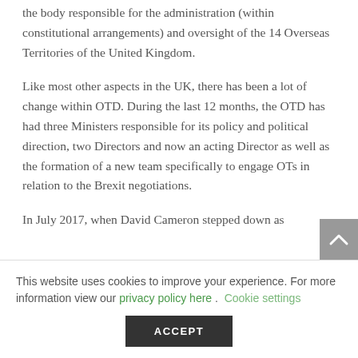the body responsible for the administration (within constitutional arrangements) and oversight of the 14 Overseas Territories of the United Kingdom.
Like most other aspects in the UK, there has been a lot of change within OTD. During the last 12 months, the OTD has had three Ministers responsible for its policy and political direction, two Directors and now an acting Director as well as the formation of a new team specifically to engage OTs in relation to the Brexit negotiations.
In July 2017, when David Cameron stepped down as
This website uses cookies to improve your experience. For more information view our privacy policy here . Cookie settings
ACCEPT